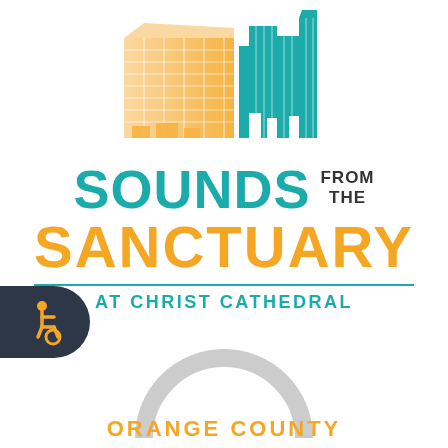[Figure (logo): Stylized illustration of a cathedral building with orange grid-pattern facade on the left and teal solid building silhouette on the right]
SOUNDS FROM THE SANCTUARY AT CHRIST CATHEDRAL
[Figure (illustration): Dark navy rounded badge with orange wheelchair accessibility icon]
[Figure (illustration): Gray semicircle arc with ORANGE COUNTY text below in orange]
ORANGE COUNTY